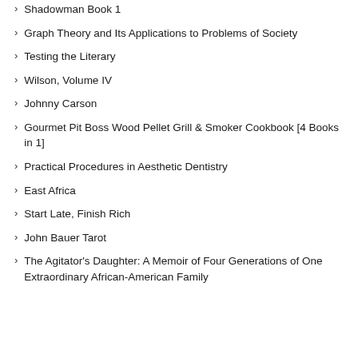Shadowman Book 1
Graph Theory and Its Applications to Problems of Society
Testing the Literary
Wilson, Volume IV
Johnny Carson
Gourmet Pit Boss Wood Pellet Grill & Smoker Cookbook [4 Books in 1]
Practical Procedures in Aesthetic Dentistry
East Africa
Start Late, Finish Rich
John Bauer Tarot
The Agitator's Daughter: A Memoir of Four Generations of One Extraordinary African-American Family